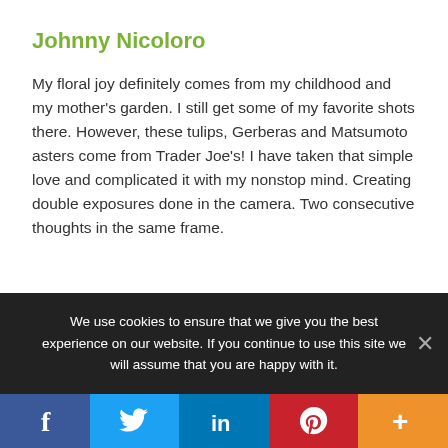Johnny Nicoloro
My floral joy definitely comes from my childhood and my mother’s garden. I still get some of my favorite shots there. However, these tulips, Gerberas and Matsumoto asters come from Trader Joe’s! I have taken that simple love and complicated it with my nonstop mind. Creating double exposures done in the camera. Two consecutive thoughts in the same frame.
We use cookies to ensure that we give you the best experience on our website. If you continue to use this site we will assume that you are happy with it.
[Figure (infographic): Social media share buttons bar with Facebook (dark blue), Twitter (light blue), LinkedIn (medium blue), Pinterest (red), and a plus/share button (orange).]